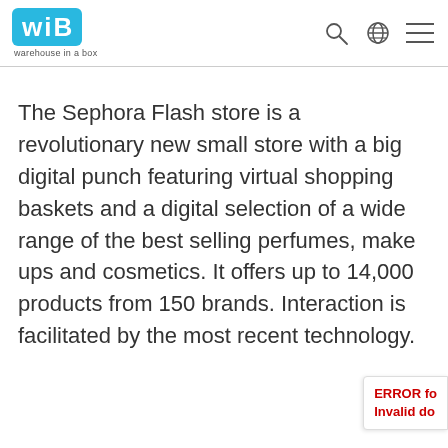[Figure (logo): WIB (Warehouse in a Box) logo - blue rounded rectangle with white letters W, I, B and tagline 'warehouse in a box' below]
The Sephora Flash store is a revolutionary new small store with a big digital punch featuring virtual shopping baskets and a digital selection of a wide range of the best selling perfumes, make ups and cosmetics. It offers up to 14,000 products from 150 brands. Interaction is facilitated by the most recent technology.
ERROR fo
Invalid do